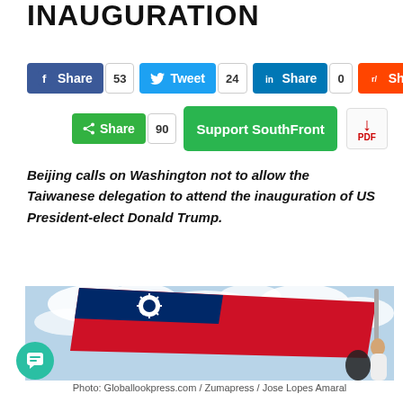INAUGURATION
[Figure (screenshot): Social media share buttons: Facebook Share (53), Tweet (24), LinkedIn Share (0), Reddit Share (0), Share (90), Support SouthFront, PDF icon]
Beijing calls on Washington not to allow the Taiwanese delegation to attend the inauguration of US President-elect Donald Trump.
[Figure (photo): A person in a white shirt holds up a Taiwan flag (red with blue canton and white sun) against a cloudy sky]
Photo: Globallookpress.com / Zumapress / Jose Lopes Amaral